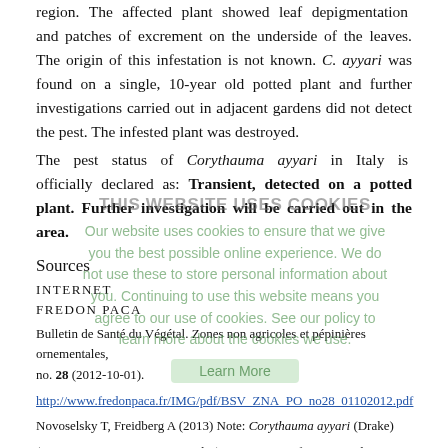region. The affected plant showed leaf depigmentation and patches of excrement on the underside of the leaves. The origin of this infestation is not known. C. ayyari was found on a single, 10-year old potted plant and further investigations carried out in adjacent gardens did not detect the pest. The infested plant was destroyed.
The pest status of Corythauma ayyari in Italy is officially declared as: Transient, detected on a potted plant. Further investigation will be carried out in the area.
Sources
INTERNET
FREDON PACA
Bulletin de Santé du Végétal. Zones non agricoles et pépinières ornementales, no. 28 (2012-10-01).
http://www.fredonpaca.fr/IMG/pdf/BSV_ZNA_PO_no28_01102012.pdf
Novoselsky T, Freidberg A (2013) Note: Corythauma ayyari (Drake) (Hemiptera: Heteroptera: Tingidae) – a new pest of ornamentals in Israel.